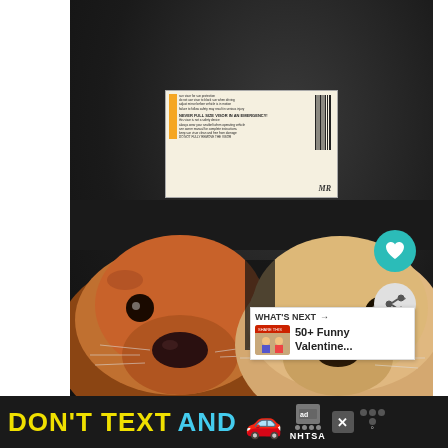[Figure (photo): Two dogs peeking up from the bottom of a car sunroof opening, viewed from inside the car looking up at the dark car ceiling. A safety label/sticker is visible on the sunroof glass. One dog is brown/reddish on the left, the other is lighter tan on the right. Both dogs' faces and noses are visible at the bottom third of the image.]
[Figure (screenshot): Social media UI overlay: teal heart (like) button and gray share button on right side. A 'WHAT'S NEXT' panel showing '50+ Funny Valentine...' article preview with thumbnail.]
DON'T TEXT AND [car emoji] [NHTSA ad badge]